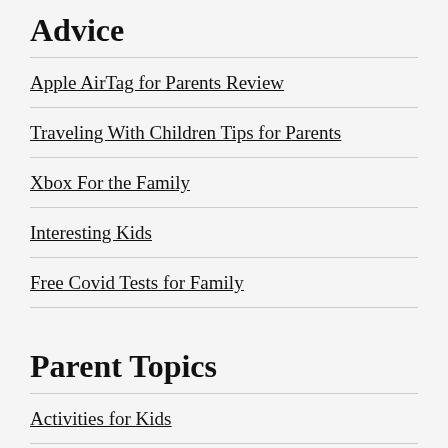Advice
Apple AirTag for Parents Review
Traveling With Children Tips for Parents
Xbox For the Family
Interesting Kids
Free Covid Tests for Family
Parent Topics
Activities for Kids
Birth & Delivery
Books